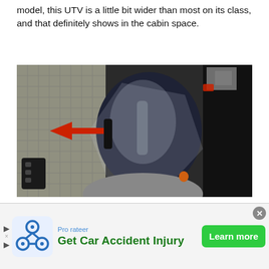model, this UTV is a little bit wider than most on its class, and that definitely shows in the cabin space.
[Figure (photo): Overhead/top-down view of UTV cabin interior showing seats, floor mat, and a red arrow pointing left toward a feature between the seats.]
If ample legroom is important because you want to ride with your family, then I'm happy to report that th
[Figure (infographic): Advertisement banner: Prorateer logo, 'Get Car Accident Injury' headline in green, 'Learn more' green button, close button, and skip arrows on the left.]